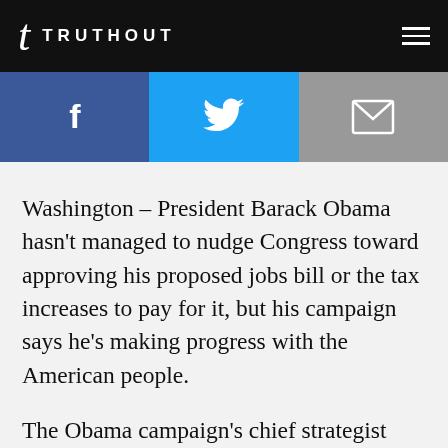TRUTHOUT
[Figure (other): Social sharing buttons: Facebook (blue), Twitter (cyan), Email (gray)]
Washington – President Barack Obama hasn't managed to nudge Congress toward approving his proposed jobs bill or the tax increases to pay for it, but his campaign says he's making progress with the American people.
The Obama campaign's chief strategist says in a memo Tuesday that polls show growing support for both Obama's proposed $447 billion jobs bill